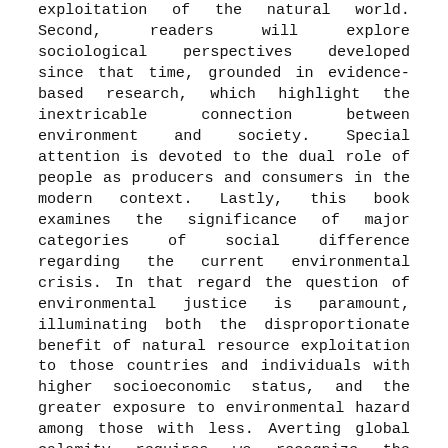exploitation of the natural world. Second, readers will explore sociological perspectives developed since that time, grounded in evidence-based research, which highlight the inextricable connection between environment and society. Special attention is devoted to the dual role of people as producers and consumers in the modern context. Lastly, this book examines the significance of major categories of social difference regarding the current environmental crisis. In that regard the question of environmental justice is paramount, illuminating both the disproportionate benefit of natural resource exploitation to those countries and individuals with higher socioeconomic status, and the greater exposure to environmental hazard among those with less. Averting global calamity requires we recognize the unequal social impacts of the